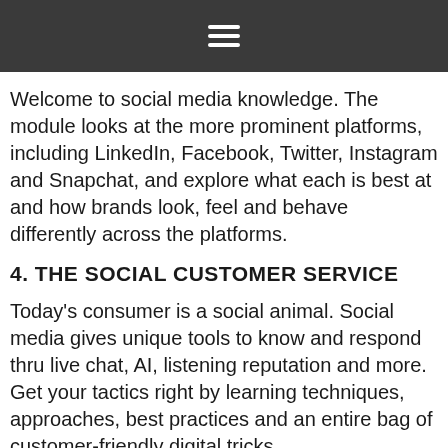≡
Welcome to social media knowledge. The module looks at the more prominent platforms, including LinkedIn, Facebook, Twitter, Instagram and Snapchat, and explore what each is best at and how brands look, feel and behave differently across the platforms.
4. THE SOCIAL CUSTOMER SERVICE
Today's consumer is a social animal. Social media gives unique tools to know and respond thru live chat, AI, listening reputation and more. Get your tactics right by learning techniques, approaches, best practices and an entire bag of customer-friendly digital tricks